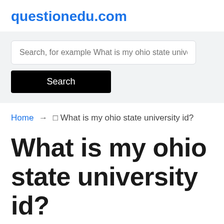questionedu.com
[Figure (screenshot): Search box with placeholder text 'Search, for example What is my ohio state unive' and a black Search button below it]
Home → 🔲 What is my ohio state university id?
What is my ohio state university id?